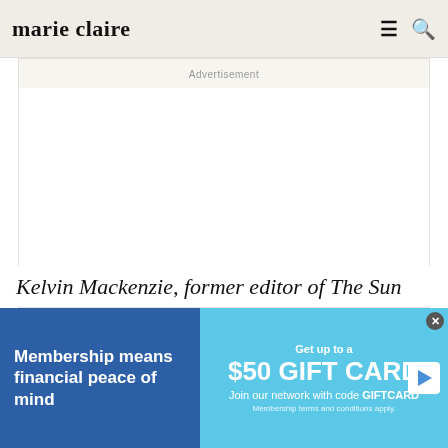marie claire
Advertisement
Kelvin Mackenzie, former editor of The Sun
[Figure (infographic): Bottom advertisement banner with two sections: left blue section reads 'Membership means financial peace of mind'; right light blue section reads 'Get up to a $50 GIFT CARD Join our network with code GIFTCARD. Membership terms and conditions apply.' with a play button icon and close button.]